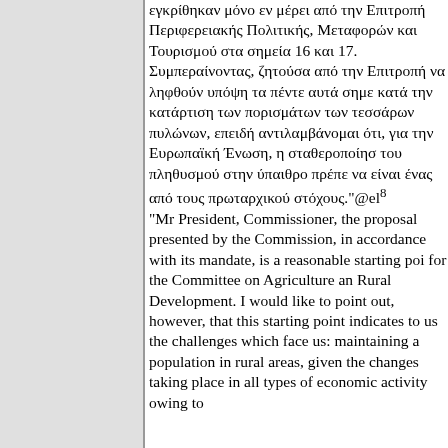εγκρίθηκαν μόνο εν μέρει από την Επιτροπή Περιφερειακής Πολιτικής, Μεταφορών και Τουρισμού στα σημεία 16 και 17. Συμπεραίνοντας, ζητούσα από την Επιτροπή να ληφθούν υπόψη τα πέντε αυτά σημε κατά την κατάρτιση των πορισμάτων των τεσσάρων πυλώνων, επειδή αντιλαμβάνομαι ότι, για την Ευρωπαϊκή Ένωση, η σταθεροποίησ του πληθυσμού στην ύπαιθρο πρέπε να είναι ένας από τους πρωταρχικού στόχους."@el⁸
"Mr President, Commissioner, the proposal presented by the Commission, in accordance with its mandate, is a reasonable starting point for the Committee on Agriculture and Rural Development. I would like to point out, however, that this starting point indicates to us the challenges which face us: maintaining a population in rural areas, given the changes taking place in all types of economic activity owing to